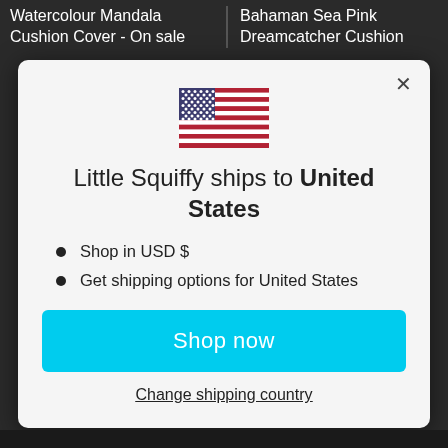Watercolour Mandala Cushion Cover - On sale | Bahaman Sea Pink Dreamcatcher Cushion
[Figure (illustration): US flag emoji/icon displayed in center of modal]
Little Squiffy ships to United States
Shop in USD $
Get shipping options for United States
Shop now
Change shipping country